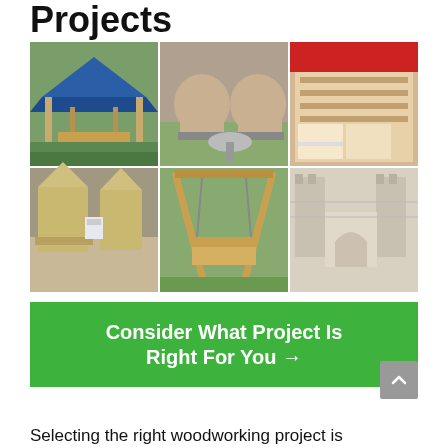Projects
[Figure (photo): 6-panel photo collage of woodworking projects: gazebo/pavilion with fire pit, barrel chairs with round table, storage bed with hydraulic lift, Adirondack chairs with cooler, wooden swing set, castle-themed toddler bed]
Consider What Project Is Right For You →
Selecting the right woodworking project is